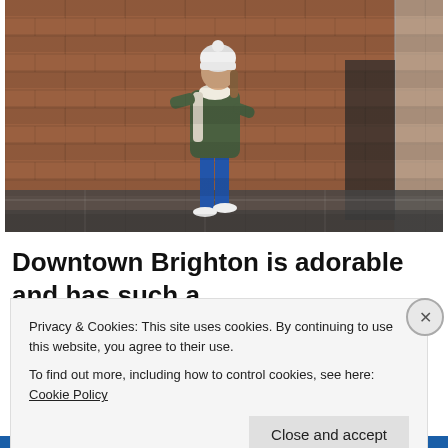[Figure (photo): A young woman wearing a white beanie hat, green parka jacket, white scarf, blue jeans, and white sneakers, walking along a wet pavement in front of a red brick wall. The setting appears to be a street in Brighton, UK.]
Downtown Brighton is adorable and has such a great array of shops, cafes, and restaurants. It
Privacy & Cookies: This site uses cookies. By continuing to use this website, you agree to their use.
To find out more, including how to control cookies, see here: Cookie Policy
Close and accept